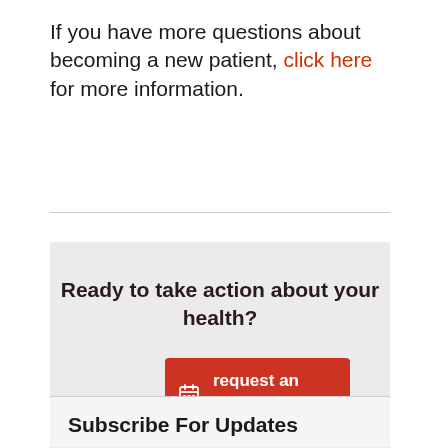If you have more questions about becoming a new patient, click here for more information.
Ready to take action about your health?
request an appointment
Subscribe For Updates